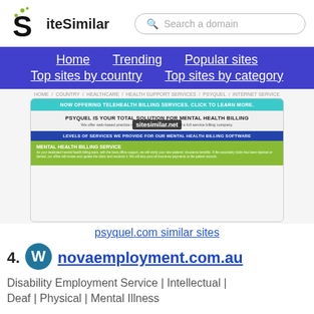SiteSimilar — Search a domain
Home  Trending  Popular sites  Top sites by country  Top sites by category
[Figure (screenshot): Screenshot of psyquel.com showing telehealth billing services page with teal header, blue section, and green mental health billing service section. Watermark: sitesimilar.net]
psyquel.com similar sites
74. novaemployment.com.au
Disability Employment Service | Intellectual | Deaf | Physical | Mental Illness